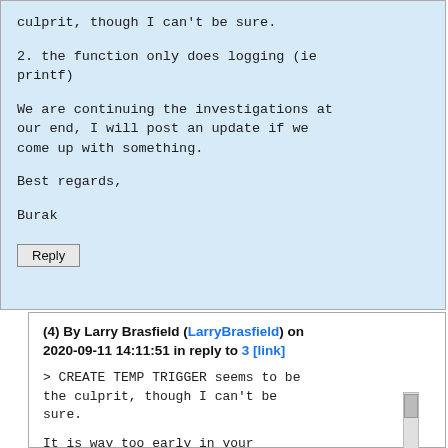culprit, though I can't be sure.

2. the function only does logging (ie printf)

We are continuing the investigations at our end, I will post an update if we come up with something.

Best regards,

Burak
Reply
(4) By Larry Brasfield (LarryBrasfield) on 2020-09-11 14:11:51 in reply to 3 [link]
> CREATE TEMP TRIGGER seems to be the culprit, though I can't be sure.

It is way too early in your debugging process to be naming culprits. You not only cannot be